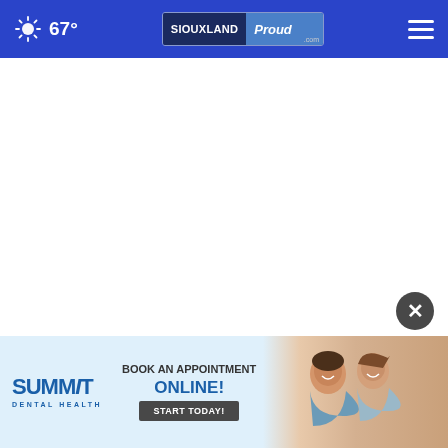67° SIOUXLAND Proud
[Figure (screenshot): Blank white main content area of a news website]
[Figure (illustration): Close/dismiss button (X) for advertisement]
[Figure (infographic): Summit Dental Health advertisement banner: BOOK AN APPOINTMENT ONLINE! START TODAY! FAMILY. FRIENDLY. DENTAL. with photo of smiling women]